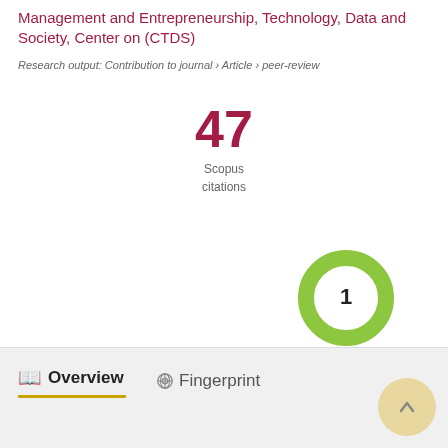Management and Entrepreneurship, Technology, Data and Society, Center on (CTDS)
Research output: Contribution to journal › Article › peer-review
47 Scopus citations
[Figure (donut-chart): Green donut chart with number 1 in the center]
Overview
Fingerprint